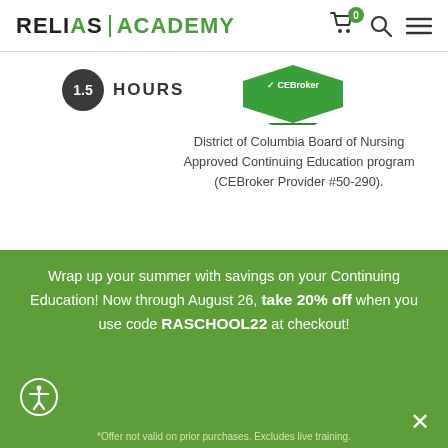RELIAS | ACADEMY
[Figure (other): 1.5 HOURS badge circle with dark background and CE Broker checkmark badge]
District of Columbia Board of Nursing Approved Continuing Education program (CEBroker Provider #50-290).
Nurses will receive 1.50 contact hours for participating in this course.
Wrap up your summer with savings on your Continuing Education! Now through August 26, take 20% off when you use code RASCHOOL22 at checkout!
*Offer not valid on prior purchases. Excludes live training.